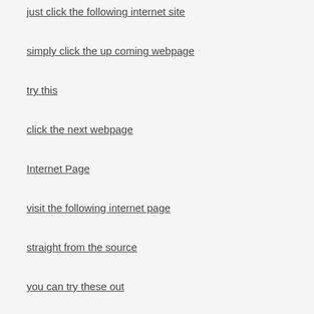just click the following internet site
simply click the up coming webpage
try this
click the next webpage
Internet Page
visit the following internet page
straight from the source
you can try these out
Suggested Website